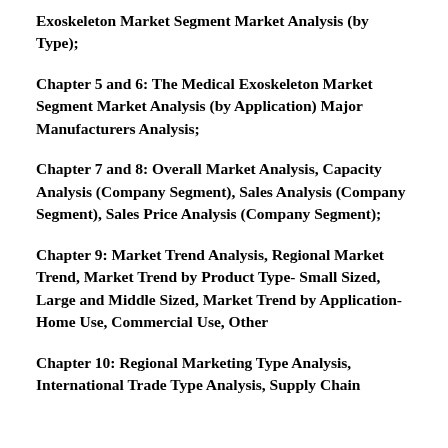Exoskeleton Market Segment Market Analysis (by Type);
Chapter 5 and 6: The Medical Exoskeleton Market Segment Market Analysis (by Application) Major Manufacturers Analysis;
Chapter 7 and 8: Overall Market Analysis, Capacity Analysis (Company Segment), Sales Analysis (Company Segment), Sales Price Analysis (Company Segment);
Chapter 9: Market Trend Analysis, Regional Market Trend, Market Trend by Product Type- Small Sized, Large and Middle Sized, Market Trend by Application- Home Use, Commercial Use, Other
Chapter 10: Regional Marketing Type Analysis, International Trade Type Analysis, Supply Chain Analysis